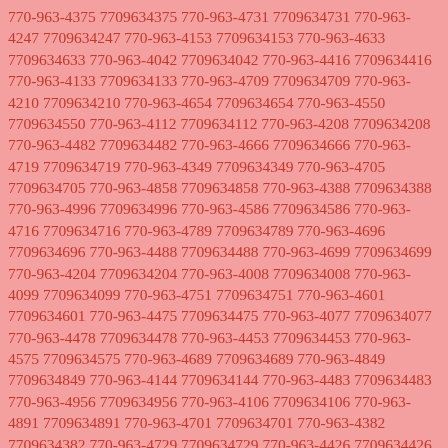770-963-4375 7709634375 770-963-4731 7709634731 770-963-4247 7709634247 770-963-4153 7709634153 770-963-4633 7709634633 770-963-4042 7709634042 770-963-4416 7709634416 770-963-4133 7709634133 770-963-4709 7709634709 770-963-4210 7709634210 770-963-4654 7709634654 770-963-4550 7709634550 770-963-4112 7709634112 770-963-4208 7709634208 770-963-4482 7709634482 770-963-4666 7709634666 770-963-4719 7709634719 770-963-4349 7709634349 770-963-4705 7709634705 770-963-4858 7709634858 770-963-4388 7709634388 770-963-4996 7709634996 770-963-4586 7709634586 770-963-4716 7709634716 770-963-4789 7709634789 770-963-4696 7709634696 770-963-4488 7709634488 770-963-4699 7709634699 770-963-4204 7709634204 770-963-4008 7709634008 770-963-4099 7709634099 770-963-4751 7709634751 770-963-4601 7709634601 770-963-4475 7709634475 770-963-4077 7709634077 770-963-4478 7709634478 770-963-4453 7709634453 770-963-4575 7709634575 770-963-4689 7709634689 770-963-4849 7709634849 770-963-4144 7709634144 770-963-4483 7709634483 770-963-4956 7709634956 770-963-4106 7709634106 770-963-4891 7709634891 770-963-4701 7709634701 770-963-4382 7709634382 770-963-4729 7709634729 770-963-4426 7709634426 770-963-4348 7709634348 770-963-4467 7709634467 770-963-4554 7709634554 770-963-4587 7709634587 770-963-4183 7709634183 770-963-4950 7709634950 770-963-4841 7709634841 770-963-4639 7709634639 770-963-4911 7709634911 770-963-4935 7709634935 770-963-4926 7709634926 770-963-4522 7709634522 770-963-4517 7709634517 770-963-4307 7709634307